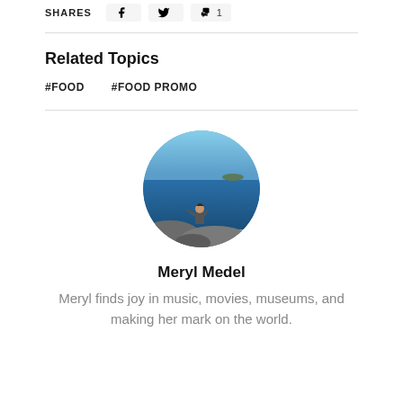SHARES
Related Topics
#FOOD
#FOOD PROMO
[Figure (photo): Circular profile photo of Meryl Medel sitting on rocks by the sea, looking out at blue ocean water with sky in background]
Meryl Medel
Meryl finds joy in music, movies, museums, and making her mark on the world.